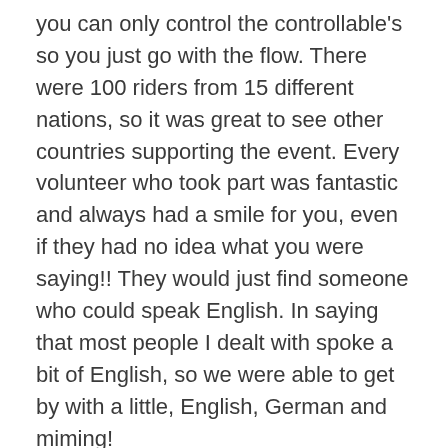you can only control the controllable's so you just go with the flow. There were 100 riders from 15 different nations, so it was great to see other countries supporting the event. Every volunteer who took part was fantastic and always had a smile for you, even if they had no idea what you were saying!! They would just find someone who could speak English. In saying that most people I dealt with spoke a bit of English, so we were able to get by with a little, English, German and miming!
It was also great to meet new people, a new trike rider – a young man from Romania, Theo and his dad, he didn't speak at all but his dad translated the conversations for him and just through his actions and facial expression you knew what he